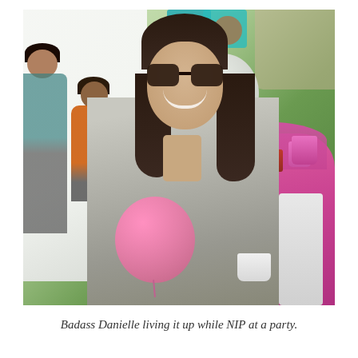[Figure (photo): A smiling woman wearing sunglasses and a gray floral nursing cover, sitting at an outdoor party under a white tent. There are pink balloons, a white balloon, and a pink-clothed table with cups and a soda can visible in the background. Other partygoers including children are visible behind her.]
Badass Danielle living it up while NIP at a party.